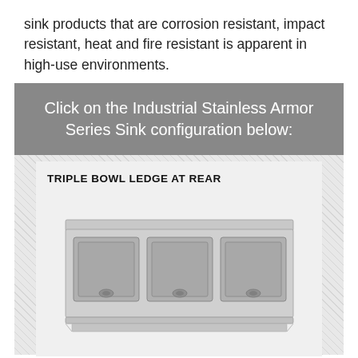sink products that are corrosion resistant, impact resistant, heat and fire resistant is apparent in high-use environments.
Click on the Industrial Stainless Armor Series Sink configuration below:
[Figure (photo): Triple bowl ledge at rear stainless steel sink shown inside a product card on a hatched gray background]